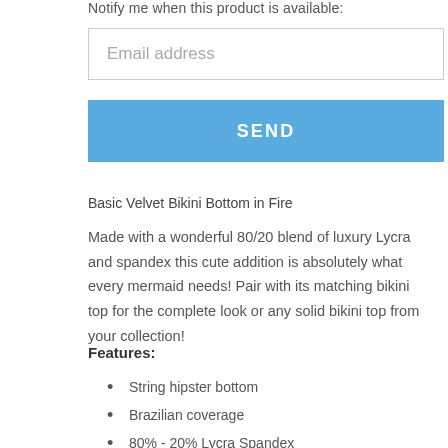Notify me when this product is available:
Email address
SEND
Basic Velvet Bikini Bottom in Fire
Made with a wonderful 80/20 blend of luxury Lycra and spandex this cute addition is absolutely what every mermaid needs! Pair with its matching bikini top for the complete look or any solid bikini top from your collection!
Features:
String hipster bottom
Brazilian coverage
80% - 20% Lycra Spandex